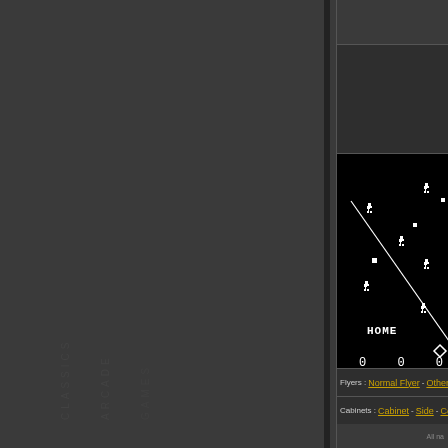[Figure (screenshot): Sidebar of a dark gray website with vertical text watermark/navigation, and a narrow dark vertical bar separator]
[Figure (screenshot): Arcade game screenshot on black background showing stick figure players on a baseball/sports field with diagonal line, HOME label and score 0 0 0]
Flyers : Normal Flyer - Other F
Cabinets : Cabinet - Side - Co
All na